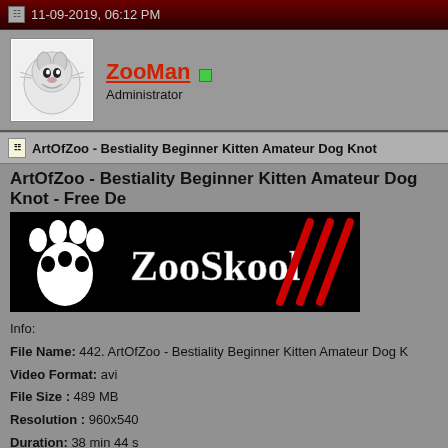11-09-2019, 06:12 PM
ZooMan
Administrator
ArtOfZoo - Bestiality Beginner Kitten Amateur Dog Knot
ArtOfZoo - Bestiality Beginner Kitten Amateur Dog Knot - Free De
[Figure (logo): ZooSkool banner logo with white paw print on black background and red slash marks]
Info:
File Name: 442. ArtOfZoo - Bestiality Beginner Kitten Amateur Dog K
Video Format: avi
File Size : 489 MB
Resolution : 960x540
Duration: 38 min 44 s
DOWNLOAD - "442 ArtOfZoo - Bestiality Beginner Kitten Amateur
www.ZooSite.Org
[Figure (screenshot): Thumbnail previews of video content]